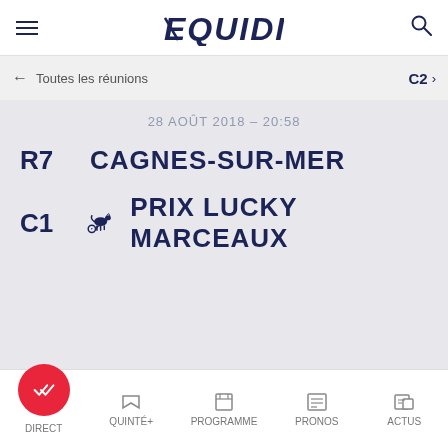EQUIDIA
← Toutes les réunions   C2 ›
28 AOÛT 2018 – 20:58
R7 CAGNES-SUR-MER
C1 PRIX LUCKY MARCEAUX
DIRECT   QUINTÉ+   PROGRAMME   PRONOS   ACTUS